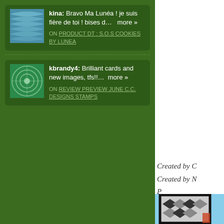kina: Bravo Ma Lunéa ! je suis fière de toi ! bises d...  more »
ON PRODUCT DT : S.O.S COOKIES BY LUNEA
kbrandy4: Brilliant cards and new images, tfs!!...  more »
ON REVIEW PREVIEW JUNE C.C. DESIGNS STAMPS
Created by C
Created by N
P
[Figure (photo): Partial view of a card with black frame on light blue background, featuring geometric chevron/arrow pattern in black and white/grey]